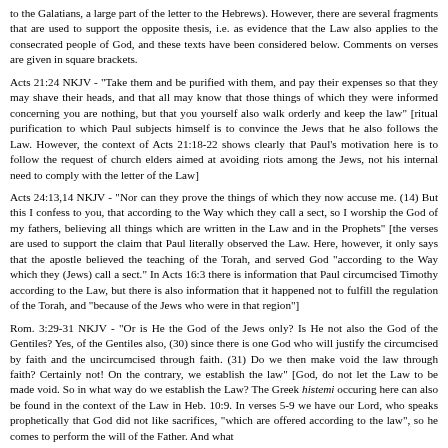to the Galatians, a large part of the letter to the Hebrews). However, there are several fragments that are used to support the opposite thesis, i.e. as evidence that the Law also applies to the consecrated people of God, and these texts have been considered below. Comments on verses are given in square brackets.
Acts 21:24 NKJV - "Take them and be purified with them, and pay their expenses so that they may shave their heads, and that all may know that those things of which they were informed concerning you are nothing, but that you yourself also walk orderly and keep the law" [ritual purification to which Paul subjects himself is to convince the Jews that he also follows the Law. However, the context of Acts 21:18-22 shows clearly that Paul's motivation here is to follow the request of church elders aimed at avoiding riots among the Jews, not his internal need to comply with the letter of the Law]
Acts 24:13,14 NKJV - "Nor can they prove the things of which they now accuse me. (14) But this I confess to you, that according to the Way which they call a sect, so I worship the God of my fathers, believing all things which are written in the Law and in the Prophets" [the verses are used to support the claim that Paul literally observed the Law. Here, however, it only says that the apostle believed the teaching of the Torah, and served God "according to the Way which they (Jews) call a sect." In Acts 16:3 there is information that Paul circumcised Timothy according to the Law, but there is also information that it happened not to fulfill the regulation of the Torah, and "because of the Jews who were in that region"]
Rom. 3:29-31 NKJV - "Or is He the God of the Jews only? Is He not also the God of the Gentiles? Yes, of the Gentiles also, (30) since there is one God who will justify the circumcised by faith and the uncircumcised through faith. (31) Do we then make void the law through faith? Certainly not! On the contrary, we establish the law" [God, do not let the Law to be made void. So in what way do we establish the Law? The Greek histemi occuring here can also be found in the context of the Law in Heb. 10:9. In verses 5-9 we have our Lord, who speaks prophetically that God did not like sacrifices, "which are offered according to the law", so he comes to perform the will of the Father. And what